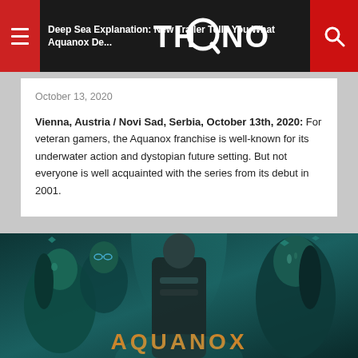THQ Nordic navigation bar with hamburger menu, THQ Nordic logo, and search button
Deep Sea Explanation: New Trailer Tells You What Aquanox De...
October 13, 2020
Vienna, Austria / Novi Sad, Serbia, October 13th, 2020: For veteran gamers, the Aquanox franchise is well-known for its underwater action and dystopian future setting. But not everyone is well acquainted with the series from its debut in 2001.
[Figure (illustration): Aquanox Deep Descent game banner showing futuristic underwater characters — a woman with cybernetic features on the left, a man with glasses behind her, a central male character in dark armor walking forward, and a woman with facial markings on the right. Teal/green color palette. 'AQUANOX' text in orange at the bottom.]